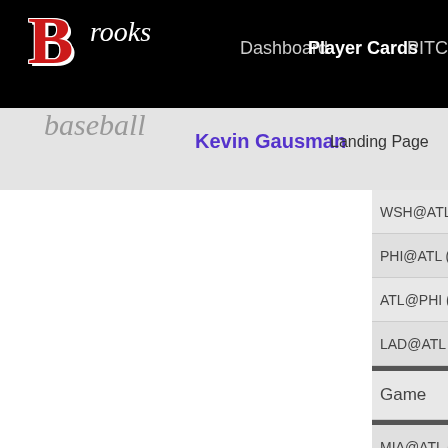Brooks Baseball - Dashboard | Player Cards | PITC...
Kevin Gausman | Landing Page
WSH@ATL (
PHI@ATL (9
ATL@PHI (9
LAD@ATL (1
Game
MIA@ATL (4
NYM@ATL (
ARI@ATL (4
ATL@CIN (4
COL@ATL (